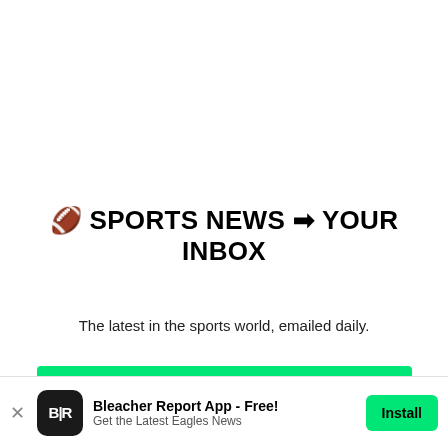🏈 SPORTS NEWS ➡ YOUR INBOX
The latest in the sports world, emailed daily.
Join Newsletter
Maybe Later
Fisher
howev
city an
coach
nearing
playof
succe
Bleacher Report App - Free! Get the Latest Eagles News Install